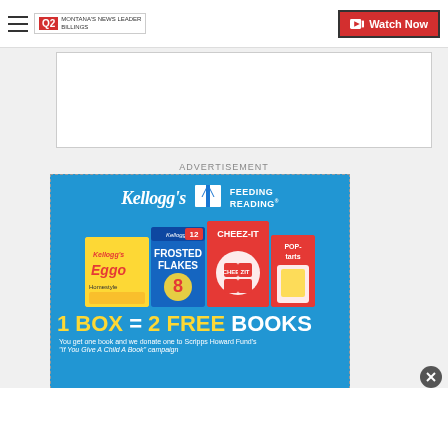Q2 Montana's News Leader Billings | Watch Now
ADVERTISEMENT
[Figure (photo): Kellogg's Feeding Reading advertisement banner. Shows Frosted Flakes, Cheez-It, Eggo, and Pop-Tarts product boxes on a blue background. Text reads: 1 BOX = 2 FREE BOOKS. You get one book and we donate one to Scripps Howard Fund's 'If You Give A Child A Book' campaign.]
You get one book and we donate one to Scripps Howard Fund's "If You Give A Child A Book" campaign.